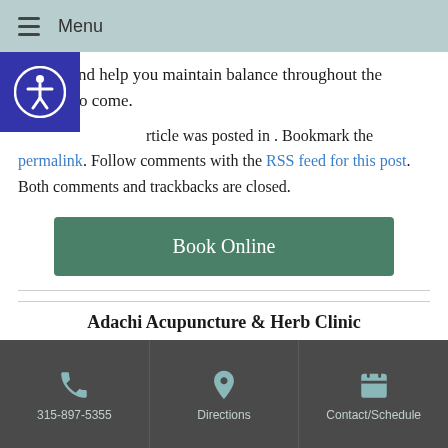Menu
Wei Qi and help you maintain balance throughout the seasons to come.
This article was posted in . Bookmark the permalink. Follow comments with the RSS feed for this post. Both comments and trackbacks are closed.
Book Online
Adachi Acupuncture & Herb Clinic
19 West 21st Street, Suite 904
New York, NY 10010
315-897-5355    Directions    Contact/Schedule